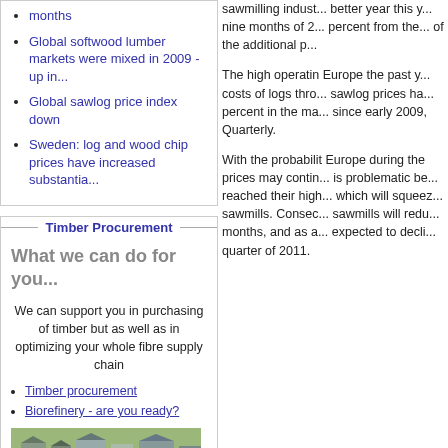months
Global softwood lumber markets were mixed in 2009 - up in...
Global sawlog price index down
Sweden: log and wood chip prices have increased substantia...
Timber Procurement
What we can do for you...
We can support you in purchasing of timber but as well as in optimizing your whole fibre supply chain
Timber procurement
Biorefinery - are you ready?
[Figure (photo): Aerial or elevated view of a timber yard with stacked logs and wood chips, green fields and buildings in background]
sawmilling industry better year this year nine months of 2... percent from the... of the additional p...
The high operating Europe the past y... costs of logs thro... sawlog prices ha... percent in the ma... since early 2009, Quarterly.
With the probabilit Europe during the prices may contin... is problematic be... reached their high... which will squeez... sawmills. Consec... sawmills will redu... months, and as a... expected to decli... quarter of 2011.